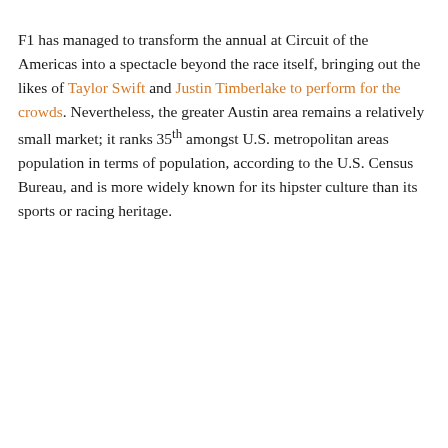F1 has managed to transform the annual at Circuit of the Americas into a spectacle beyond the race itself, bringing out the likes of Taylor Swift and Justin Timberlake to perform for the crowds. Nevertheless, the greater Austin area remains a relatively small market; it ranks 35th amongst U.S. metropolitan areas population in terms of population, according to the U.S. Census Bureau, and is more widely known for its hipster culture than its sports or racing heritage.